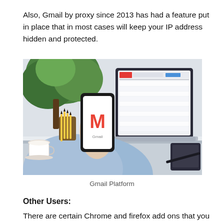Also, Gmail by proxy since 2013 has had a feature put in place that in most cases will keep your IP address hidden and protected.
[Figure (photo): A person in a blue shirt holding a smartphone displaying the Gmail logo (red M), with a laptop showing Gmail open in the background, a pencil holder, and a coffee cup on a white desk.]
Gmail Platform
Other Users:
There are certain Chrome and firefox add ons that you